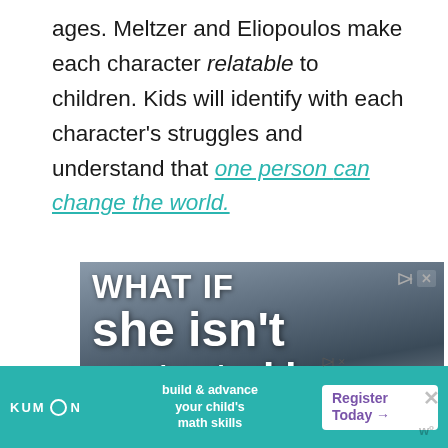ages. Meltzer and Eliopoulos make each character relatable to children. Kids will identify with each character's struggles and understand that one person can change the world.
[Figure (screenshot): Advertisement image with white bold text on a blurred background showing 'What if she isn't protected by' in large letters, with adchoices icons in the top right.]
[Figure (screenshot): Kumon advertisement banner at bottom: teal background with Kumon logo, tagline 'build & advance your child's math skills', and purple 'Register Today' call-to-action button.]